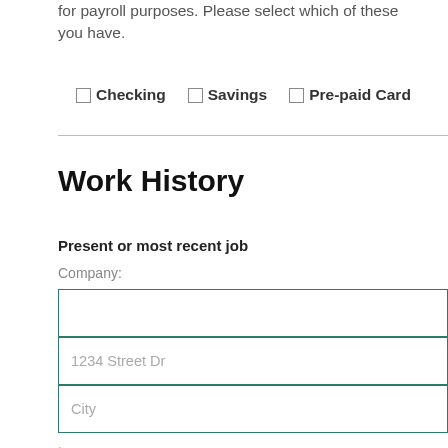for payroll purposes. Please select which of these you have.
Checking  Savings  Pre-paid Card
Work History
Present or most recent job
Company:
1234 Street Dr
City
,
State